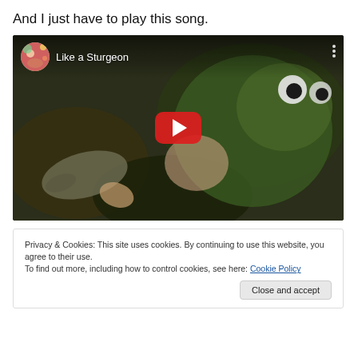And I just have to play this song.
[Figure (screenshot): Embedded YouTube video player showing 'Like a Sturgeon' with a dark thumbnail featuring a fish and green knitted costume, a red play button in the center, a circular profile image thumbnail in the top-left, and three vertical dots in the top-right.]
Privacy & Cookies: This site uses cookies. By continuing to use this website, you agree to their use.
To find out more, including how to control cookies, see here: Cookie Policy